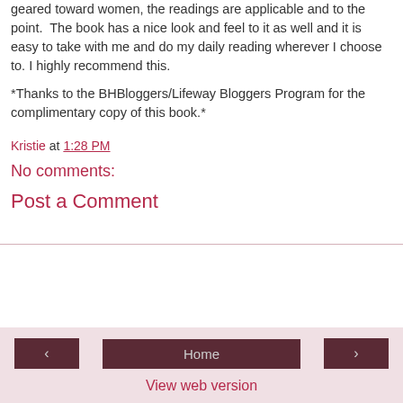geared toward women, the readings are applicable and to the point.  The book has a nice look and feel to it as well and it is easy to take with me and do my daily reading wherever I choose to. I highly recommend this.
*Thanks to the BHBloggers/Lifeway Bloggers Program for the complimentary copy of this book.*
Kristie at 1:28 PM
No comments:
Post a Comment
‹  Home  ›  View web version